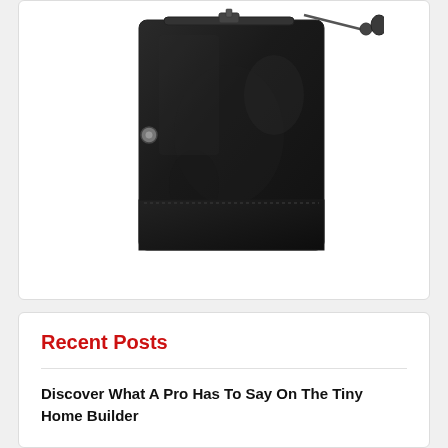[Figure (photo): A black leather wallet/clutch bag shown from the back, with zipper at top and a metal snap button on the side, and a chain strap. The wallet is rectangular with a zippered pocket at the bottom.]
Recent Posts
Discover What A Pro Has To Say On The Tiny Home Builder